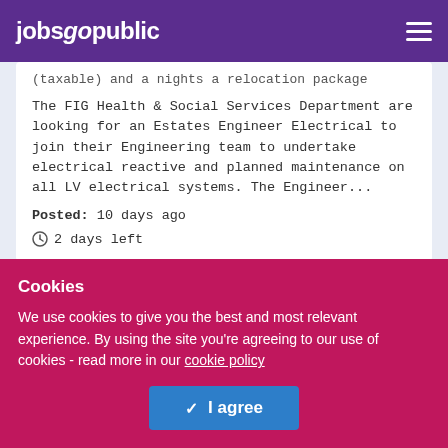jobsgopublic
(taxable) and a nights a relocation package
The FIG Health & Social Services Department are looking for an Estates Engineer Electrical to join their Engineering team to undertake electrical reactive and planned maintenance on all LV electrical systems. The Engineer...
Posted: 10 days ago
2 days left
Cookies
We use cookies to give you the best and most relevant experience. By using the site you're agreeing to our use of cookies - read more in our cookie policy
I agree